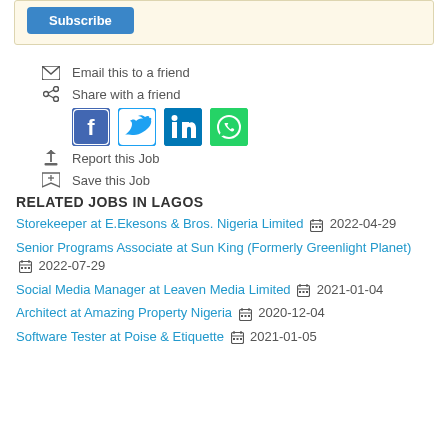Subscribe
Email this to a friend
Share with a friend
[Figure (other): Social media share icons: Facebook, Twitter, LinkedIn, WhatsApp]
Report this Job
Save this Job
RELATED JOBS IN LAGOS
Storekeeper at E.Ekesons & Bros. Nigeria Limited  2022-04-29
Senior Programs Associate at Sun King (Formerly Greenlight Planet)  2022-07-29
Social Media Manager at Leaven Media Limited  2021-01-04
Architect at Amazing Property Nigeria  2020-12-04
Software Tester at Poise & Etiquette  2021-01-05